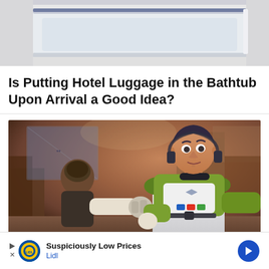[Figure (photo): Top portion of a hotel bathtub or luggage rack image, partially cropped at top]
Is Putting Hotel Luggage in the Bathtub Upon Arrival a Good Idea?
[Figure (photo): Scene from Pixar's Lightyear movie showing Buzz Lightyear in green and white spacesuit reaching out, with another figure in foreground, warm orange-brown background with architectural structures]
Suspiciously Low Prices
Lidl